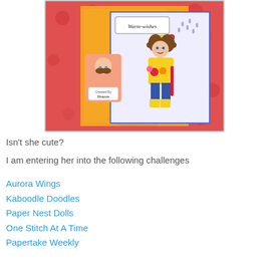[Figure (photo): A handmade greeting card featuring a cartoon girl in a yellow raincoat and boots holding flowers, standing in rain. Text on card reads 'Warm wishes'. A small doll sticker with 'Created By Shazza' label is also visible. Background is red/orange patterned paper.]
Isn't she cute?
I am entering her into the following challenges
Aurora Wings
Kaboodle Doodles
Paper Nest Dolls
One Stitch At A Time
Papertake Weekly